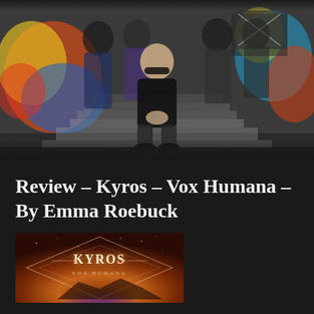[Figure (photo): Band photo of Kyros posing on graffiti-covered stairs. One member sits centrally on steps with hands clasped, others stand behind. Colorful graffiti art visible on walls.]
Review – Kyros – Vox Humana – By Emma Roebuck
[Figure (photo): Album cover for Kyros 'Vox Humana'. Features cosmic/space background in orange and purple tones with the KYROS logo in stylized text and 'VOX HUMANA' subtitle below, framed by a diamond-shaped border.]